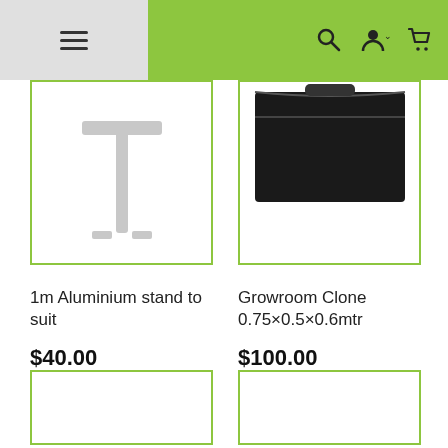Navigation bar with hamburger menu, search, account, and cart icons
[Figure (photo): 1m Aluminium stand product photo - white/grey T-shaped stand on white background]
1m Aluminium stand to suit
$40.00
[Figure (photo): Growroom Clone 0.75x0.5x0.6mtr product photo - black fabric grow tent bag]
Growroom Clone 0.75×0.5×0.6mtr
$100.00
[Figure (photo): Product image placeholder - empty white box with green border (bottom left)]
[Figure (photo): Product image placeholder - empty white box with green border (bottom right)]